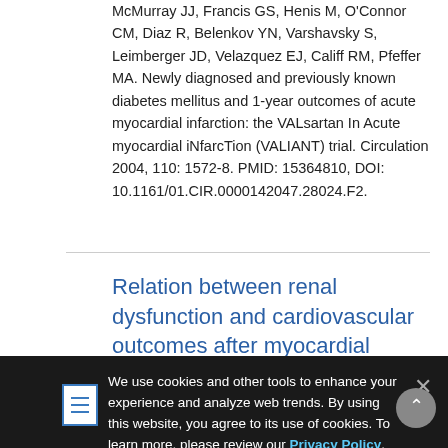McMurray JJ, Francis GS, Henis M, O'Connor CM, Diaz R, Belenkov YN, Varshavsky S, Leimberger JD, Velazquez EJ, Califf RM, Pfeffer MA. Newly diagnosed and previously known diabetes mellitus and 1-year outcomes of acute myocardial infarction: the VALsartan In Acute myocardial iNfarcTion (VALIANT) trial. Circulation 2004, 110: 1572-8. PMID: 15364810, DOI: 10.1161/01.CIR.0000142047.28024.F2.
Relation between renal dysfunction and cardiovascular outcomes after myocardial infarction.
Anavekar NS, McMurray JJ, Velazquez EJ, Solomon SD, Kober L, Rouleau JL, White HD, Nordlander R, Maggioni A, Dickstein K, Zelenkofske S, Leimberger JD, Califf RM, Pfeffer MA. Relation between renal
We use cookies and other tools to enhance your experience and analyze web trends. By using this website, you agree to its use of cookies. To learn more, please review our Privacy Policy.